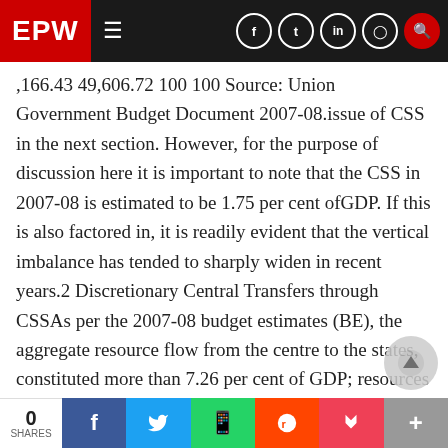EPW
,166.43 49,606.72 100 100 Source: Union Government Budget Document 2007-08.issue of CSS in the next section. However, for the purpose of discussion here it is important to note that the CSS in 2007-08 is estimated to be 1.75 per cent ofGDP. If this is also factored in, it is readily evident that the vertical imbalance has tended to sharply widen in recent years.2 Discretionary Central Transfers through CSSAs per the 2007-08 budget estimates (BE), the aggregate resource flow from the centre to the states, constituted more than 7.26 per cent of GDP; resources that are directly to districts and other imple-menting
0 SHARES